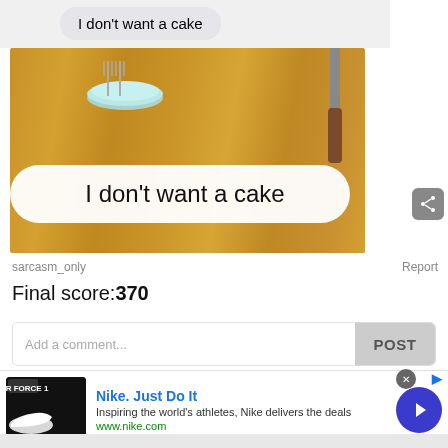[Figure (screenshot): Screenshot of a text message bubble showing 'I don't want a cake' in gray bubble]
[Figure (photo): Photo of a cake decorated with white frosting shaped like a text message bubble reading 'I don't want a cake', placed on a wooden table with a blue plate with forks and a knife]
sarcasm_only
Report
Final score:370
Add a comment...
POST
[Figure (screenshot): Nike advertisement banner: 'Nike. Just Do It' with text 'Inspiring the world's athletes, Nike delivers the deals' and URL www.nike.com, with a shoe image on the left and arrow button on the right]